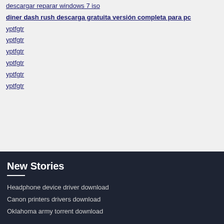descargar reparar windows 7 iso
diner dash rush descarga gratuita versión completa para pc
yptfgtr
yptfgtr
yptfgtr
yptfgtr
yptfgtr
yptfgtr
New Stories
Headphone device driver download
Canon printers drivers download
Oklahoma army torrent download